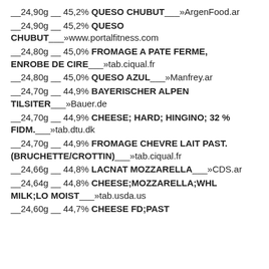__24,90g __ 45,2% QUESO CHUBUT___»ArgenFood.ar
__24,90g __ 45,2% QUESO CHUBUT___»www.portalfitness.com
__24,80g __ 45,0% FROMAGE A PATE FERME, ENROBE DE CIRE___»tab.ciqual.fr
__24,80g __ 45,0% QUESO AZUL___»Manfrey.ar
__24,70g __ 44,9% BAYERISCHER ALPEN TILSITER___»Bauer.de
__24,70g __ 44,9% CHEESE; HARD; HINGINO; 32 % FIDM.___»tab.dtu.dk
__24,70g __ 44,9% FROMAGE CHEVRE LAIT PAST. (BRUCHETTE/CROTTIN)___»tab.ciqual.fr
__24,66g __ 44,8% LACNAT MOZZARELLA___»CDS.ar
__24,64g __ 44,8% CHEESE;MOZZARELLA;WHL MILK;LO MOIST___»tab.usda.us
__24,60g __ 44,7% CHEESE FD;PAST